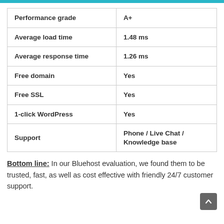|  |  |
| --- | --- |
| Performance grade | A+ |
| Average load time | 1.48 ms |
| Average response time | 1.26 ms |
| Free domain | Yes |
| Free SSL | Yes |
| 1-click WordPress | Yes |
| Support | Phone / Live Chat / Knowledge base |
Bottom line: In our Bluehost evaluation, we found them to be trusted, fast, as well as cost effective with friendly 24/7 customer support.